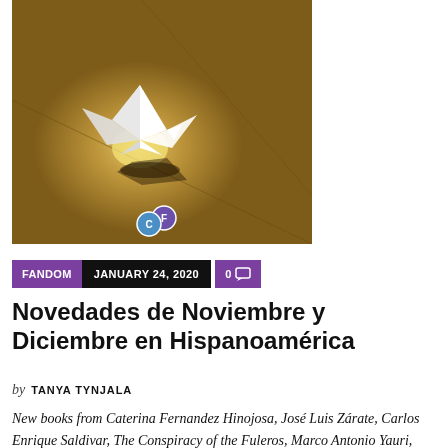[Figure (photo): An origami paper crane or bird shape glowing white against a warm golden-brown textured background with diagonal lines converging behind it, casting a dark shadow below. Two small circular avatar icons overlay the bottom-left of the image.]
FANDOM   JANUARY 24, 2020   0 💬
Novedades de Noviembre y Diciembre en Hispanoamérica
by TANYA TYNJALA
New books from Caterina Fernandez Hinojosa, José Luis Zárate, Carlos Enrique Saldivar, The Conspiracy of the Fuleros, Marco Antonio Yauri, Daína Chaviano, Poldark